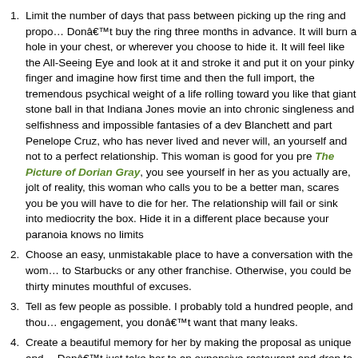Limit the number of days that pass between picking up the ring and propo... Donâ€™t buy the ring three months in advance. It will burn a hole in your chest, or wherever you choose to hide it. It will feel like the All-Seeing Eye and look at it and stroke it and put it on your pinky finger and imagine how first time and then the full import, the tremendous psychical weight of a life rolling toward you like that giant stone ball in that Indiana Jones movie an into chronic singleness and selfishness and impossible fantasies of a dev Blanchett and part Penelope Cruz, who has never lived and never will, an yourself and not to a perfect relationship. This woman is good for you pre The Picture of Dorian Gray, you see yourself in her as you actually are, jolt of reality, this woman who calls you to be a better man, scares you be you will have to die for her. The relationship will fail or sink into mediocrity the box. Hide it in a different place because your paranoia knows no limits
Choose an easy, unmistakable place to have a conversation with the won to Starbucks or any other franchise. Otherwise, you could be thirty minutes mouthful of excuses.
Tell as few people as possible. I probably told a hundred people, and thou engagement, you donâ€™t want that many leaks.
Create a beautiful memory for her by making the proposal as unique and Donâ€™t just take her to an expensive restaurant and drop to one knee.
Try to follow up the ring with a party. Ask a couple of your friends and hers one place for pictures and congratulations because as soon as she has th it off.